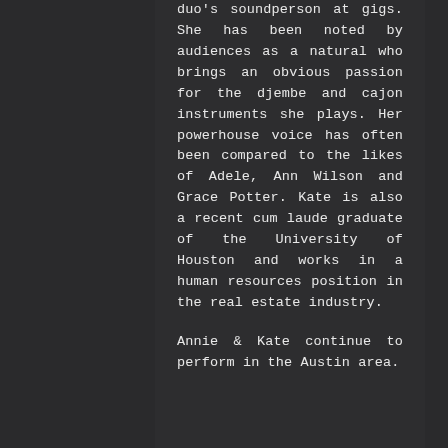duo's soundperson at gigs. She has been noted by audiences as a natural who brings an obvious passion for the djembe and cajon instruments she plays. Her powerhouse voice has often been compared to the likes of Adele, Ann Wilson and Grace Potter. Kate is also a recent cum laude graduate of the University of Houston and works in a human resources position in the real estate industry.

Annie & Kate continue to perform in the Austin area.